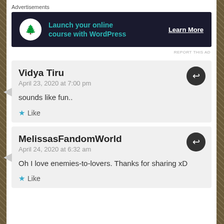Advertisements
[Figure (other): Advertisement banner: dark background with a tree icon, text 'Launch your online course with WordPress', and 'Learn More' button]
REPORT THIS AD
Vidya Tiru
April 23, 2020 at 7:00 pm

sounds like fun..

★ Like
MelissasFandomWorld
April 24, 2020 at 6:32 am

Oh I love enemies-to-lovers. Thanks for sharing xD

★ Like